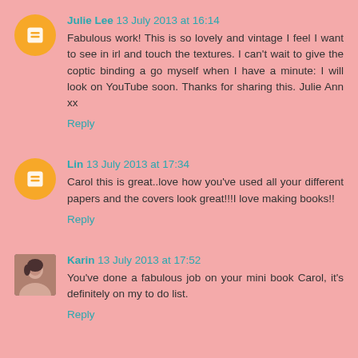Julie Lee 13 July 2013 at 16:14
Fabulous work! This is so lovely and vintage I feel I want to see in irl and touch the textures. I can't wait to give the coptic binding a go myself when I have a minute: I will look on YouTube soon. Thanks for sharing this. Julie Ann xx
Reply
Lin 13 July 2013 at 17:34
Carol this is great..love how you've used all your different papers and the covers look great!!!I love making books!!
Reply
Karin 13 July 2013 at 17:52
You've done a fabulous job on your mini book Carol, it's definitely on my to do list.
Reply